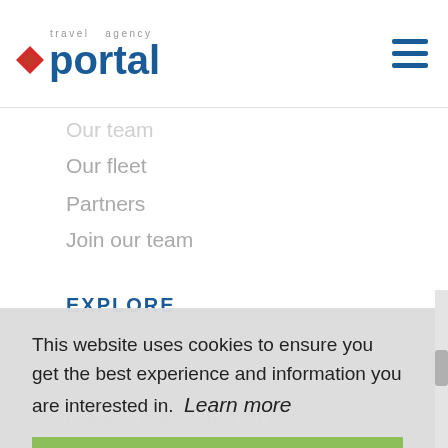travel agency portal
Our team
Our fleet
Partners
Join our team
EXPLORE
This website uses cookies to ensure you get the best experience and information you are interested in.  Learn more
How to book
FAQ
Privacy policy and GDPR
Blog
Got it!